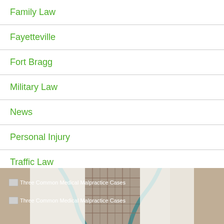Family Law
Fayetteville
Fort Bragg
Military Law
News
Personal Injury
Traffic Law
Uncategorized
[Figure (photo): Doctor in white coat with teal stethoscope, partial torso view. Two image link thumbnails labeled 'Three Common Medical Malpractice Cases' overlay the bottom portion.]